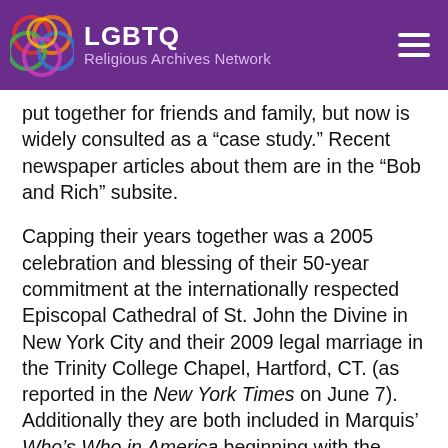LGBTQ Religious Archives Network
put together for friends and family, but now is widely consulted as a “case study.” Recent newspaper articles about them are in the “Bob and Rich” subsite.
Capping their years together was a 2005 celebration and blessing of their 50-year commitment at the internationally respected Episcopal Cathedral of St. John the Divine in New York City and their 2009 legal marriage in the Trinity College Chapel, Hartford, CT. (as reported in the New York Times on June 7). Additionally they are both included in Marquis’ Who’s Who in America beginning with the Diamond edition of 2006. Dick and Bob celebrated their 75th birthdays in 2012. They currently live independently in the John Knox